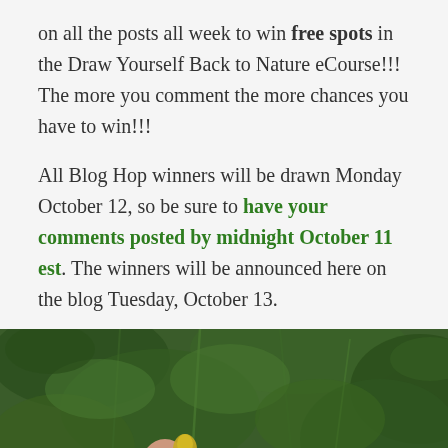on all the posts all week to win free spots in the Draw Yourself Back to Nature eCourse!!! The more you comment the more chances you have to win!!!

All Blog Hop winners will be drawn Monday October 12, so be sure to have your comments posted by midnight October 11 est. The winners will be announced here on the blog Tuesday, October 13.
[Figure (photo): Close-up photo of a hand holding a small yellow flower bud among green leafy plants and stems]